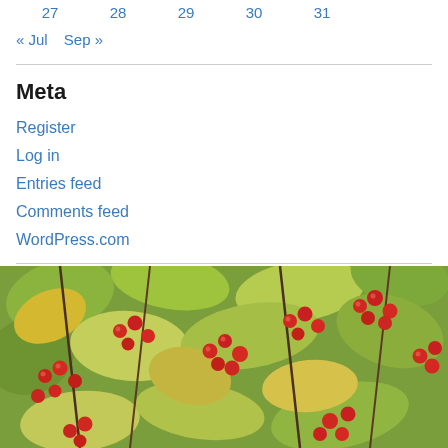27  28  29  30  31
« Jul   Sep »
Meta
Register
Log in
Entries feed
Comments feed
WordPress.com
[Figure (photo): Photo of red berries (hawthorn or similar) on a bush with green and yellow-green leaves]